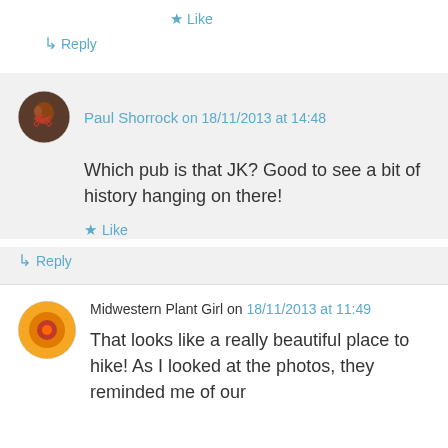★ Like
↳ Reply
Paul Shorrock on 18/11/2013 at 14:48
Which pub is that JK? Good to see a bit of history hanging on there!
★ Like
↳ Reply
Midwestern Plant Girl on 18/11/2013 at 11:49
That looks like a really beautiful place to hike! As I looked at the photos, they reminded me of our